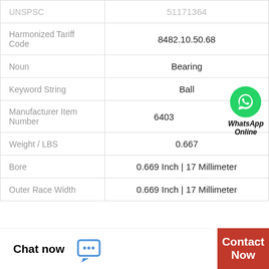| Attribute | Value |
| --- | --- |
| UNSPSC | 51171364 |
| Harmonized Tariff Code | 8482.10.50.68 |
| Noun | Bearing |
| Keyword String | Ball |
| Manufacturer Item Number | 6403 |
| Weight / LBS | 0.667 |
| Bore | 0.669 Inch | 17 Millimeter |
| Outer Race Width | 0.669 Inch | 17 Millimeter |
[Figure (logo): WhatsApp Online badge with green WhatsApp logo circle and italic bold text 'WhatsApp Online']
Chat now   Contact Now